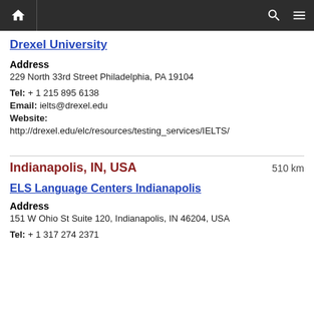Home | Search | Menu
Drexel University
Address
229 North 33rd Street Philadelphia, PA 19104
Tel: + 1 215 895 6138
Email: ielts@drexel.edu
Website:
http://drexel.edu/elc/resources/testing_services/IELTS/
Indianapolis, IN, USA   510 km
ELS Language Centers Indianapolis
Address
151 W Ohio St Suite 120, Indianapolis, IN 46204, USA
Tel: + 1 317 274 2371